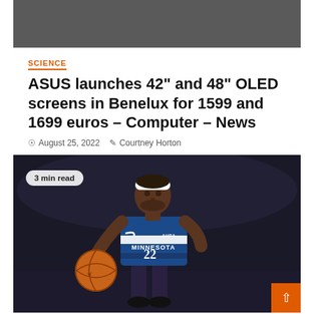[Figure (photo): Dark gray banner image bar at top of page]
SCIENCE
ASUS launches 42” and 48” OLED screens in Benelux for 1599 and 1699 euros – Computer – News
© August 25, 2022   ✎ Courtney Horton
[Figure (photo): Basketball player wearing Minnesota Timberwolves #22 jersey dribbling a basketball. Player is wearing a white headband with NBA logo. Photo has '3 min read' badge overlay in top-left corner. An orange back-to-top arrow button is in the bottom-right corner.]